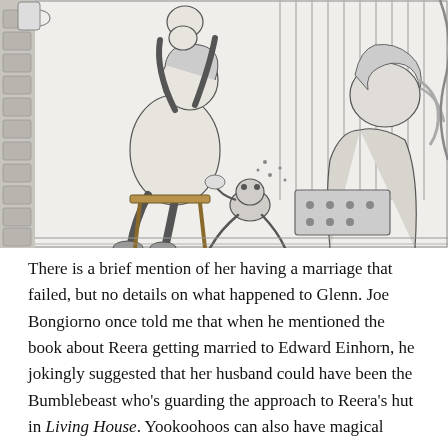[Figure (illustration): Black and white pen-and-ink illustration showing a domestic scene with a woman holding a baby aloft on the left, a small creature or frog-like figure in the center, and a woman with curly hair sitting on the right, with various background details including vertical slats and household items.]
There is a brief mention of her having a marriage that failed, but no details on what happened to Glenn. Joe Bongiorno once told me that when he mentioned the book about Reera getting married to Edward Einhorn, he jokingly suggested that her husband could have been the Bumblebeast who's guarding the approach to Reera's hut in Living House. Yookoohoos can also have magical